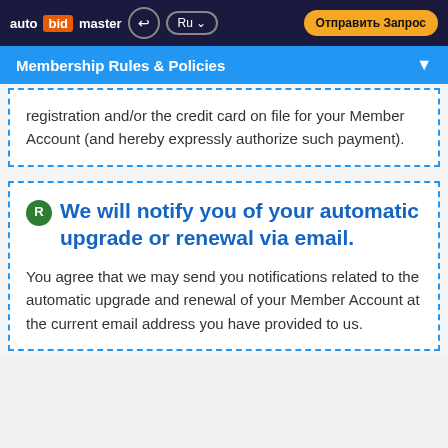auto bid master | Ru | Отправить Запрос
Membership Rules & Policies
registration and/or the credit card on file for your Member Account (and hereby expressly authorize such payment).
We will notify you of your automatic upgrade or renewal via email.
You agree that we may send you notifications related to the automatic upgrade and renewal of your Member Account at the current email address you have provided to us.